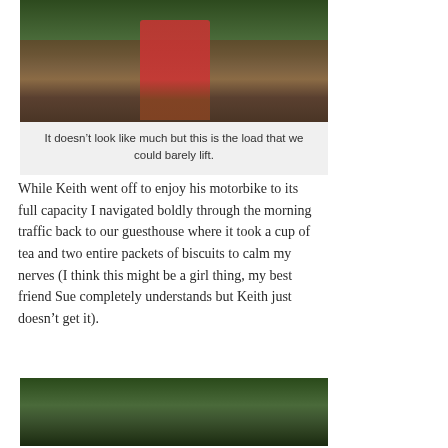[Figure (photo): A child in red pants walking along a dirt path with green vegetation in the background.]
It doesn’t look like much but this is the load that we could barely lift.
While Keith went off to enjoy his motorbike to its full capacity I navigated boldly through the morning traffic back to our guesthouse where it took a cup of tea and two entire packets of biscuits to calm my nerves (I think this might be a girl thing, my best friend Sue completely understands but Keith just doesn’t get it).
[Figure (photo): A green leafy scene, possibly a garden or jungle with large leaves and plants visible.]